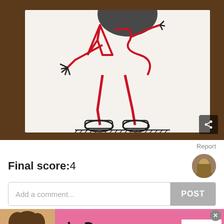[Figure (photo): A hand-drawn illustration on white paper placed on a wooden table. The drawing shows a stick-figure-like character with red outlines, wearing large black boots, with a dark circular head/shadow at top. The figure appears to be in a dynamic pose. A share icon is visible in the bottom-right corner of the image.]
Report
Final score:4
Add a comment...
POST
[Figure (photo): Victoria's Secret advertisement banner with pink background. Shows a model on the left, the VS logo in the center, text 'SHOP THE COLLECTION' and a white 'SHOP NOW' button on the right. A close (x) button is in the top-right corner.]